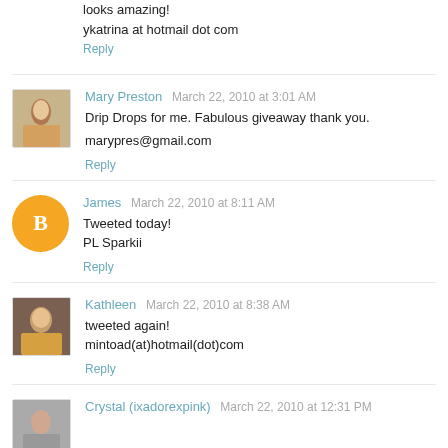looks amazing!
ykatrina at hotmail dot com
Reply
[Figure (photo): Avatar photo of Mary Preston]
Mary Preston  March 22, 2010 at 3:01 AM
Drip Drops for me. Fabulous giveaway thank you.
marypres@gmail.com
Reply
[Figure (logo): Blogger orange circle logo with B]
James  March 22, 2010 at 8:11 AM
Tweeted today!
PL Sparkii
Reply
[Figure (photo): Avatar photo of Kathleen]
Kathleen  March 22, 2010 at 8:38 AM
tweeted again!
mintoad(at)hotmail(dot)com
Reply
[Figure (photo): Avatar photo of Crystal (ixadorexpink)]
Crystal (ixadorexpink)  March 22, 2010 at 12:31 PM